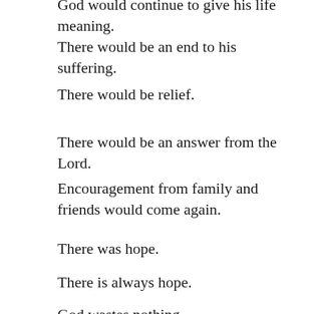God would continue to give his life meaning.
There would be an end to his suffering.
There would be relief.
There would be an answer from the Lord.
Encouragement from family and friends would come again.
There was hope.
There is always hope.
God wastes nothing.